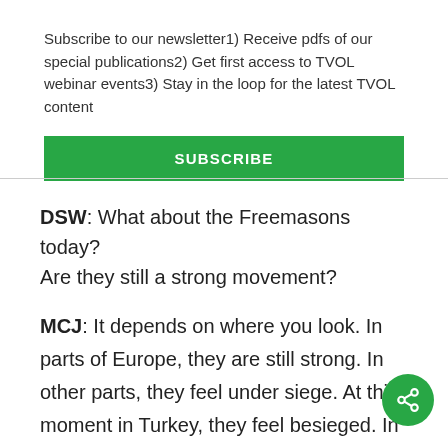Subscribe to our newsletter1) Receive pdfs of our special publications2) Get first access to TVOL webinar events3) Stay in the loop for the latest TVOL content
SUBSCRIBE
DSW: What about the Freemasons today? Are they still a strong movement?
MCJ: It depends on where you look. In parts of Europe, they are still strong. In other parts, they feel under siege. At this moment in Turkey, they feel besieged. In